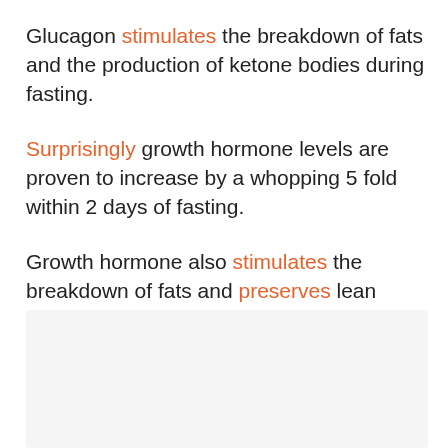Glucagon stimulates the breakdown of fats and the production of ketone bodies during fasting.
Surprisingly growth hormone levels are proven to increase by a whopping 5 fold within 2 days of fasting.
Growth hormone also stimulates the breakdown of fats and preserves lean mass.